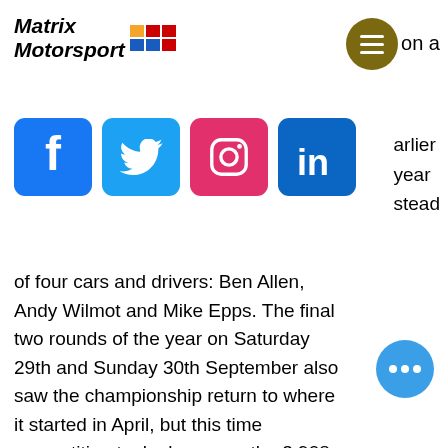[Figure (logo): Matrix Motorsport logo with colored squares and italic bold text]
[Figure (other): Hamburger menu circle button in olive/dark yellow color]
on a
[Figure (other): Social media icons row: Facebook, Twitter, Instagram, LinkedIn]
arlier
year
stead
of four cars and drivers: Ben Allen, Andy Wilmot and Mike Epps. The final two rounds of the year on Saturday 29th and Sunday 30th September also saw the championship return to where it started in April, but this time competition took place over the 3.908-mile long Grand Prix circuit rather than the 1.929-mile Indy configuration.
The cool autumnal air combined with cloudless Kent skies made for near perfect conditions for Saturday morning's Qualifying. Once again, Epps was quickest of the Matrix t... and, although he was less than 0... second off pole, he couldn't get into a ...
[Figure (other): Blue circle chat/more options button with three dots]